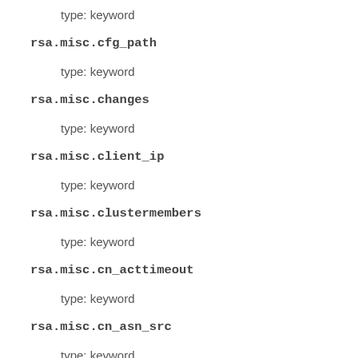type: keyword
rsa.misc.cfg_path
type: keyword
rsa.misc.changes
type: keyword
rsa.misc.client_ip
type: keyword
rsa.misc.clustermembers
type: keyword
rsa.misc.cn_acttimeout
type: keyword
rsa.misc.cn_asn_src
type: keyword